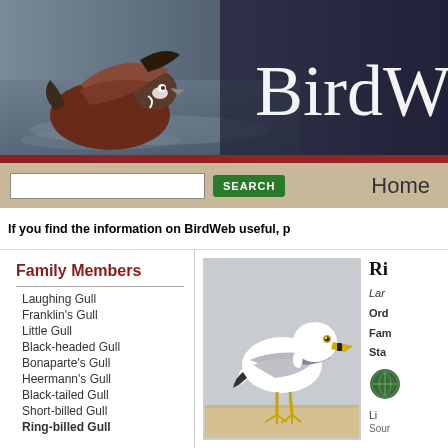[Figure (photo): BirdWeb website header banner showing a duck in flight over water on the left, with 'BirdW' text (partially visible) in white serif font on dark blue-grey background on the right]
BirdW
If you find the information on BirdWeb useful, p
Family Members
Laughing Gull
Franklin's Gull
Little Gull
Black-headed Gull
Bonaparte's Gull
Heermann's Gull
Black-tailed Gull
Short-billed Gull
Ring-billed Gull
[Figure (photo): White seagull (Ring-billed Gull) standing on sandy beach, facing right, with grey wings, yellow bill with black ring, and yellow legs]
Ri
Lar
Ord
Fam
Sta
[Figure (other): Small circular green map icon]
Li
Sour